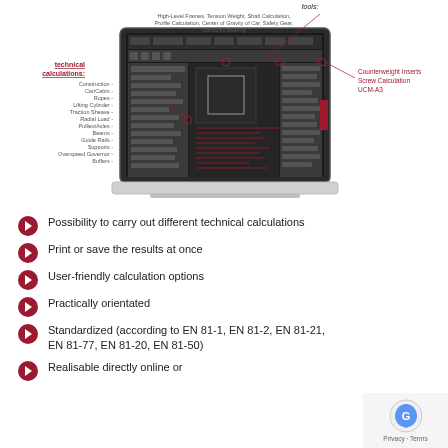[Figure (screenshot): Laptop computer displaying engineering calculation software interface with dark UI. Annotations point to various features: tools (High-Level Frames, Tension Weight, Shaft Calculation, Profile Calculation, Center of Gravity of Car, Safety Gear, Durability Bearing), technical calculations (Construction, Car/Cabin, Ropes, Lifting Cylinder, Traction Sheave, Radial Load, Pullies/Axles, Beams, Guide Rails, Supports, Overspeed Governor, Buffers), and Counterweight Inserts Screw Calculation UCM-A3.]
Possibility to carry out different technical calculations
Print or save the results at once
User-friendly calculation options
Practically orientated
Standardized (according to EN 81-1, EN 81-2, EN 81-21, EN 81-77, EN 81-20, EN 81-50)
Realisable directly online or